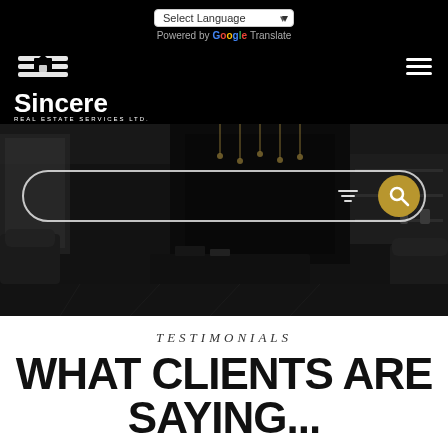Select Language | Powered by Google Translate
[Figure (logo): Sincere Real Estate Services Ltd. logo — white icon of a hand with a house, bold white text 'Sincere' and smaller 'REAL ESTATE SERVICES LTD.']
[Figure (photo): Dark-toned interior living room photo with modern furniture, fireplace, and pendant lighting, used as a hero background image with a search bar overlay]
TESTIMONIALS
WHAT CLIENTS ARE SAYING...